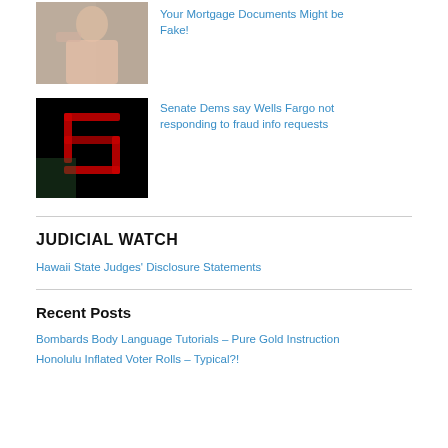[Figure (photo): Photo of a person in a pink jacket gesturing]
Your Mortgage Documents Might be Fake!
[Figure (photo): Dark image with red digital numbers/digits visible]
Senate Dems say Wells Fargo not responding to fraud info requests
JUDICIAL WATCH
Hawaii State Judges' Disclosure Statements
Recent Posts
Bombards Body Language Tutorials – Pure Gold Instruction
Honolulu Inflated Voter Rolls – Typical?!